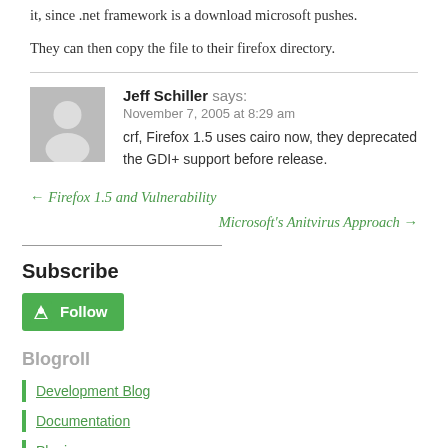it, since .net framework is a download microsoft pushes.
They can then copy the file to their firefox directory.
Jeff Schiller says:
November 7, 2005 at 8:29 am
crf, Firefox 1.5 uses cairo now, they deprecated the GDI+ support before release.
← Firefox 1.5 and Vulnerability
Microsoft's Anitvirus Approach →
Subscribe
[Figure (other): Green Follow button with Feedly-style icon]
Blogroll
Development Blog
Documentation
Plugins